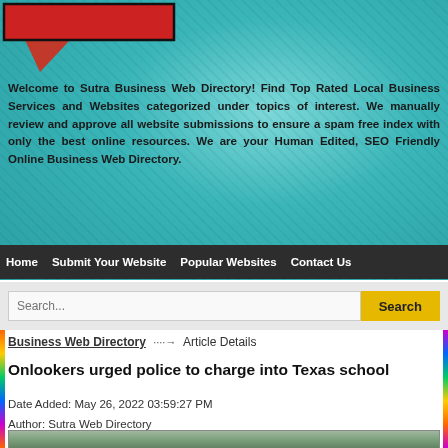[Figure (screenshot): Sutra Business Web Directory header with teal floral background, red speech bubble logo shape, and navigation bar]
Welcome to Sutra Business Web Directory! Find Top Rated Local Business Services and Websites categorized under topics of interest. We manually review and approve all website submissions to ensure a spam free index with only the best online resources. We are your Human Edited, SEO Friendly Online Business Web Directory.
Home  Submit Your Website  Popular Websites  Contact Us
Search...  Search
Business Web Directory → Article Details
Onlookers urged police to charge into Texas school
Date Added: May 26, 2022 03:59:27 PM
Author: Sutra Web Directory
Category: News & References
[Figure (photo): Partial outdoor scene photo, appears to show a building exterior with greenery]